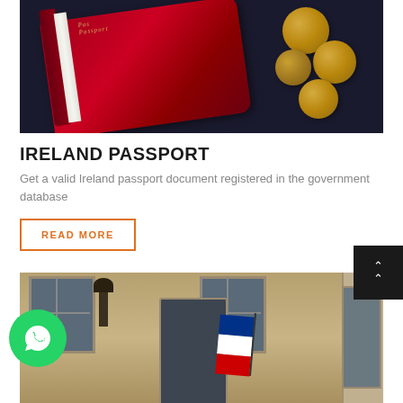[Figure (photo): Red Irish passport book with gold coins on dark background]
IRELAND PASSPORT
Get a valid Ireland passport document registered in the government database
READ MORE
[Figure (photo): Stone building facade with French flag hanging from doorway, blue shuttered windows, and street lamp]